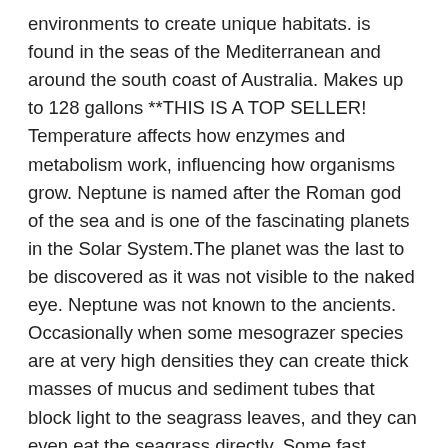environments to create unique habitats. is found in the seas of the Mediterranean and around the south coast of Australia. Makes up to 128 gallons **THIS IS A TOP SELLER! Temperature affects how enzymes and metabolism work, influencing how organisms grow. Neptune is named after the Roman god of the sea and is one of the fascinating planets in the Solar System.The planet was the last to be discovered as it was not visible to the naked eye. Neptune was not known to the ancients. Occasionally when some mesograzer species are at very high densities they can create thick masses of mucus and sediment tubes that block light to the seagrass leaves, and they can even eat the seagrass directly. Some fast growing seagrass meadows are able to rebound from disturbances, but many grow slowly over the course of centuries and are likely to be slow to